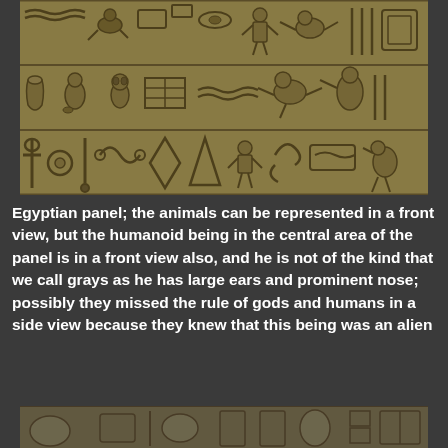[Figure (photo): Photograph of an ancient Egyptian carved stone panel showing rows of hieroglyphs with animal and humanoid figures in relief, gold-brown in color]
Egyptian panel; the animals can be represented in a front view, but the humanoid being in the central area of the panel is in a front view also, and he is not of the kind that we call grays as he has large ears and prominent nose; possibly they missed the rule of gods and humans in a side view because they knew that this being was an alien
[Figure (photo): Partial view of another ancient Egyptian carved stone panel showing hieroglyphs and figures in relief, partially visible at the bottom of the page]